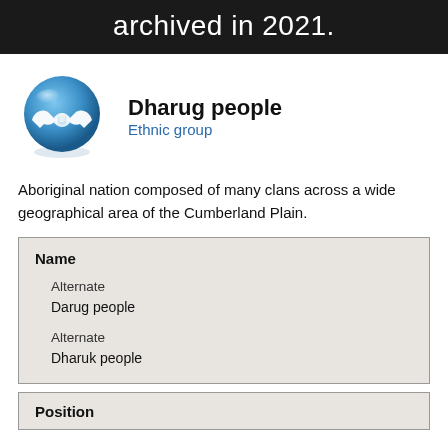archived in 2021.
Dharug people
Ethnic group
Aboriginal nation composed of many clans across a wide geographical area of the Cumberland Plain.
| Name |
| --- |
| Alternate | Darug people |
| Alternate | Dharuk people |
Position